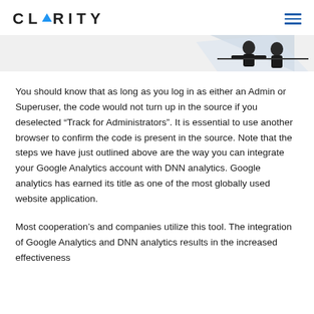CLARITY
[Figure (illustration): Partial decorative banner image showing abstract shapes and silhouette of a person]
You should know that as long as you log in as either an Admin or Superuser, the code would not turn up in the source if you deselected “Track for Administrators”. It is essential to use another browser to confirm the code is present in the source. Note that the steps we have just outlined above are the way you can integrate your Google Analytics account with DNN analytics. Google analytics has earned its title as one of the most globally used website application.
Most cooperation’s and companies utilize this tool. The integration of Google Analytics and DNN analytics results in the increased effectiveness